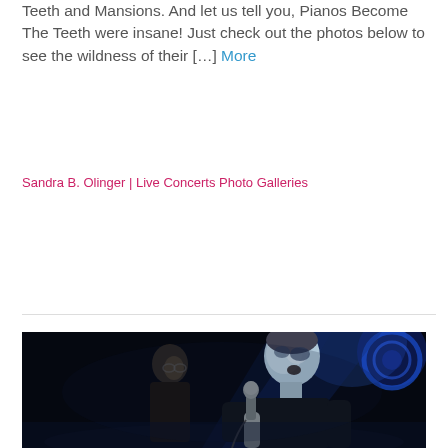Teeth and Mansions. And let us tell you, Pianos Become The Teeth were insane! Just check out the photos below to see the wildness of their […] More
Sandra B. Olinger | Live Concerts Photo Galleries
[Figure (photo): Concert photo showing two performers on a dark stage lit with blue lighting. A singer in a black t-shirt holds a microphone on the right, while another band member stands behind on the left.]